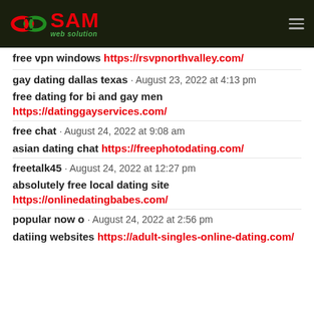SAM web solution
free vpn windows https://rsvpnorthvalley.com/
gay dating dallas texas · August 23, 2022 at 4:13 pm
free dating for bi and gay men https://datinggayservices.com/
free chat · August 24, 2022 at 9:08 am
asian dating chat https://freephotodating.com/
freetalk45 · August 24, 2022 at 12:27 pm
absolutely free local dating site https://onlinedatingbabes.com/
popular now o · August 24, 2022 at 2:56 pm
datiing websites https://adult-singles-online-dating.com/